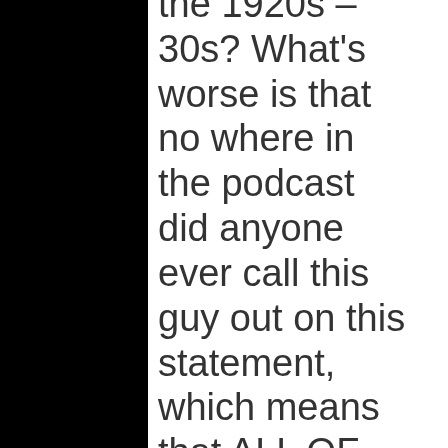the 1920s – 30s? What's worse is that no where in the podcast did anyone ever call this guy out on this statement, which means that ALL OF YOU AGREED WITH IT. No offense, but are you guys completely ignorant to world history?